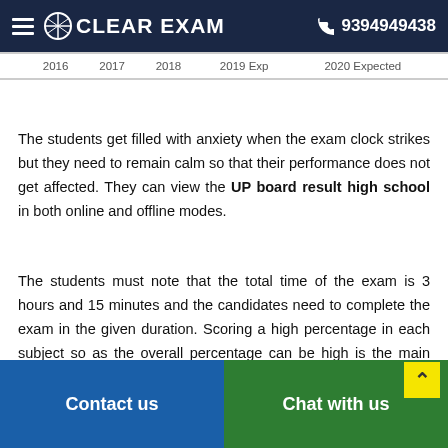CLEAR EXAM  9394949438
|  | 2016 | 2017 | 2018 | 2019 Exp | 2020 Expected |
| --- | --- | --- | --- | --- | --- |
The students get filled with anxiety when the exam clock strikes but they need to remain calm so that their performance does not get affected. They can view the UP board result high school in both online and offline modes.
The students must note that the total time of the exam is 3 hours and 15 minutes and the candidates need to complete the exam in the given duration. Scoring a high percentage in each subject so as the overall percentage can be high is the main aim of the aspirants of Class 10th UP Board.
Contact us   Chat with us